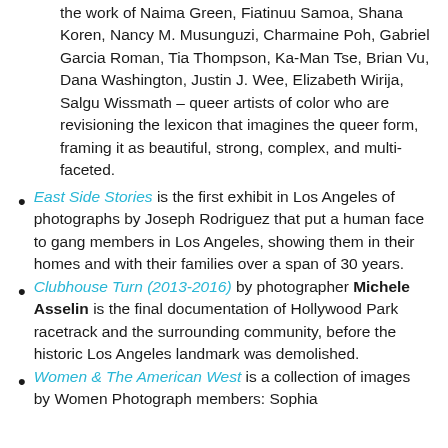the work of Naima Green, Fiatinuu Samoa, Shana Koren, Nancy M. Musunguzi, Charmaine Poh, Gabriel Garcia Roman, Tia Thompson, Ka-Man Tse, Brian Vu, Dana Washington, Justin J. Wee, Elizabeth Wirija, Salgu Wissmath – queer artists of color who are revisioning the lexicon that imagines the queer form, framing it as beautiful, strong, complex, and multi-faceted.
East Side Stories is the first exhibit in Los Angeles of photographs by Joseph Rodriguez that put a human face to gang members in Los Angeles, showing them in their homes and with their families over a span of 30 years.
Clubhouse Turn (2013-2016) by photographer Michele Asselin is the final documentation of Hollywood Park racetrack and the surrounding community, before the historic Los Angeles landmark was demolished.
Women & The American West is a collection of images by Women Photograph members: Sophia